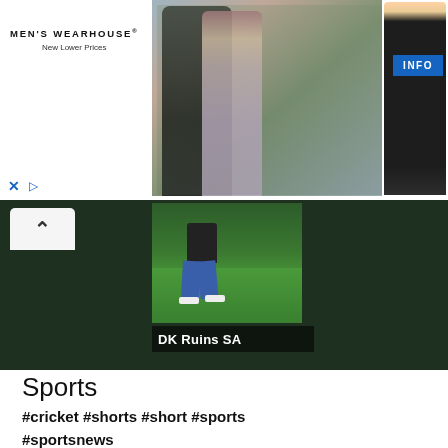[Figure (screenshot): Men's Wearhouse advertisement banner showing a couple in formalwear and a man in a dark suit, with an INFO button, close (X) and play icons at bottom left]
[Figure (screenshot): Dark green background sports video thumbnail showing a cricket player walking on a green field with a white chevron/collapse arrow tab, and text 'DK Ruins SA' overlaid at the bottom]
Sports
#cricket #shorts #short #sports #sportsnews